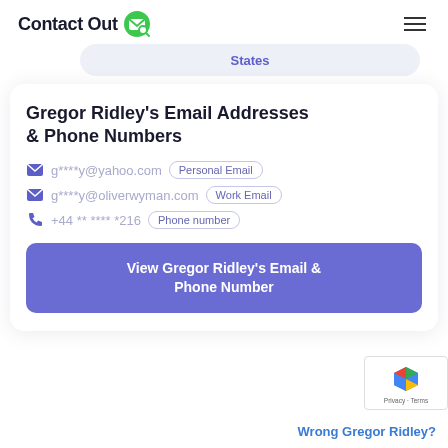ContactOut
States
Gregor Ridley's Email Addresses & Phone Numbers
g****y@yahoo.com Personal Email
g****y@oliverwyman.com Work Email
+44 ** **** *216 Phone number
View Gregor Ridley's Email & Phone Number
Wrong Gregor Ridley?